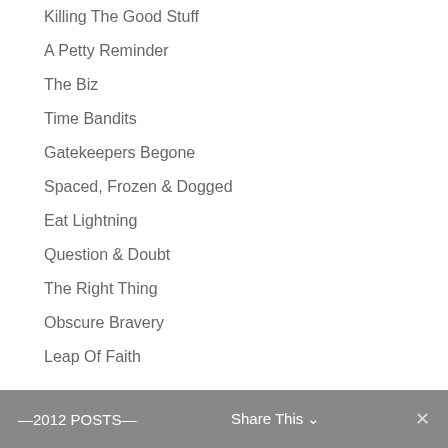Killing The Good Stuff
A Petty Reminder
The Biz
Time Bandits
Gatekeepers Begone
Spaced, Frozen & Dogged
Eat Lightning
Question & Doubt
The Right Thing
Obscure Bravery
Leap Of Faith
—2012 POSTS—  Share This  ✕